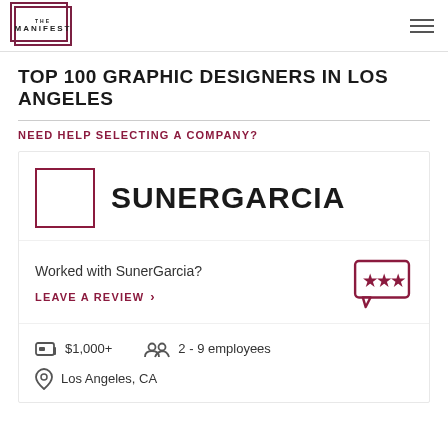THE MANIFEST
TOP 100 GRAPHIC DESIGNERS IN LOS ANGELES
NEED HELP SELECTING A COMPANY?
SUNERGARCIA
Worked with SunerGarcia?
LEAVE A REVIEW >
$1,000+
2 - 9 employees
Los Angeles, CA